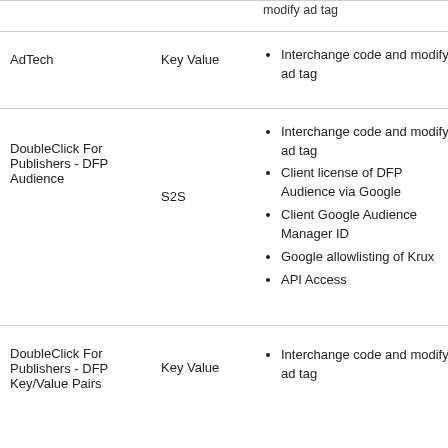|  |  |  |
| --- | --- | --- |
| AdTech | Key Value | • Interchange code and modify ad tag |
| DoubleClick For Publishers - DFP Audience | S2S | • Interchange code and modify ad tag
• Client license of DFP Audience via Google
• Client Google Audience Manager ID
• Google allowlisting of Krux
• API Access |
| DoubleClick For Publishers - DFP Key/Value Pairs | Key Value | • Interchange code and modify ad tag |